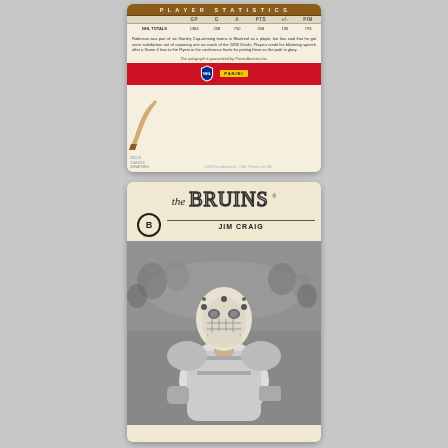[Figure (photo): Back of a 2012-13 Panini Classics Signatures hockey card showing player statistics table for NHL Totals (GP:1384, G:208, A:750, PTS:958, +/-:130, PIM:793), a biographical text about Robinson being part of six Stanley Cup winning teams in Montreal as a player, and a Panini autograph guarantee. Red bottom section with NHL shield logo and Panini badge.]
| GP | G | A | PTS | +/- | PIM |
| --- | --- | --- | --- | --- | --- |
| NHL TOTALS | 1384 | 208 | 750 | 958 | 130 | 793 |
Robinson was part of six Stanley Cup-winning teams in Montreal as a player, but has said that he got more satisfaction out of capturing one as coach of the 2000 Devils. Players credit his blistering speech after a Game 4 loss to the Flyers in the conference finals for putting them on the path to glory.
The autograph is guaranteed by Panini America Inc.
[Figure (photo): Front of a Panini hockey card for Jim Craig of the Boston Bruins. Top section shows 'the BRUINS' with script 'the' and outlined block letters 'BRUINS', Boston Bruins B logo, and player name 'JIM CRAIG'. Bottom section shows a black and white vintage photo of Jim Craig in his goalie mask and equipment.]